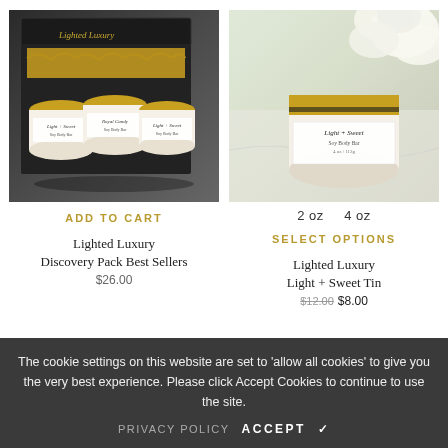[Figure (photo): Black gift box open containing three gold-lidded candle tins with yellow crinkle paper, brand logo visible on box lid]
[Figure (photo): White and gold candle tin jar with label on marble surface next to white flower, overhead view]
2 oz    4 oz
ADD TO CART
SELECT OPTIONS
Lighted Luxury
Lighted Luxury
Discovery Pack Best Sellers
Light + Sweet Tin
$26.00
$8.00
The cookie settings on this website are set to 'allow all cookies' to give you the very best experience. Please click Accept Cookies to continue to use the site.
PRIVACY POLICY
ACCEPT ✓